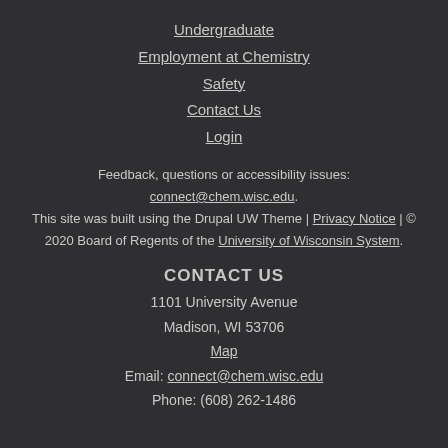Undergraduate
Employment at Chemistry
Safety
Contact Us
Login
Feedback, questions or accessibility issues: connect@chem.wisc.edu. This site was built using the Drupal UW Theme | Privacy Notice | © 2020 Board of Regents of the University of Wisconsin System.
CONTACT US
1101 University Avenue
Madison, WI 53706
Map
Email: connect@chem.wisc.edu
Phone: (608) 262-1486